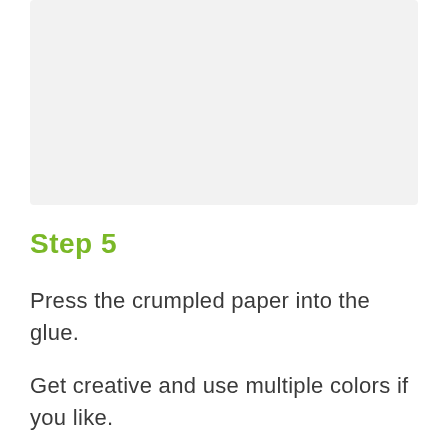[Figure (photo): Placeholder image area showing a light gray rectangle]
Step 5
Press the crumpled paper into the glue.
Get creative and use multiple colors if you like.